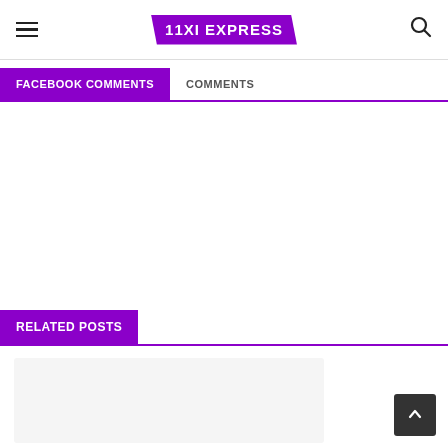11XI EXPRESS
FACEBOOK COMMENTS  COMMENTS
RELATED POSTS